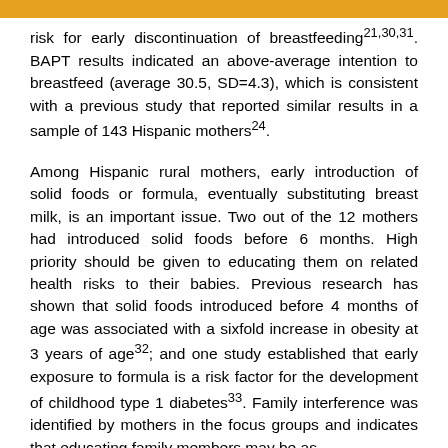risk for early discontinuation of breastfeeding21,30,31. BAPT results indicated an above-average intention to breastfeed (average 30.5, SD=4.3), which is consistent with a previous study that reported similar results in a sample of 143 Hispanic mothers24.
Among Hispanic rural mothers, early introduction of solid foods or formula, eventually substituting breast milk, is an important issue. Two out of the 12 mothers had introduced solid foods before 6 months. High priority should be given to educating them on related health risks to their babies. Previous research has shown that solid foods introduced before 4 months of age was associated with a sixfold increase in obesity at 3 years of age32; and one study established that early exposure to formula is a risk factor for the development of childhood type 1 diabetes33. Family interference was identified by mothers in the focus groups and indicates that educating family members may be as